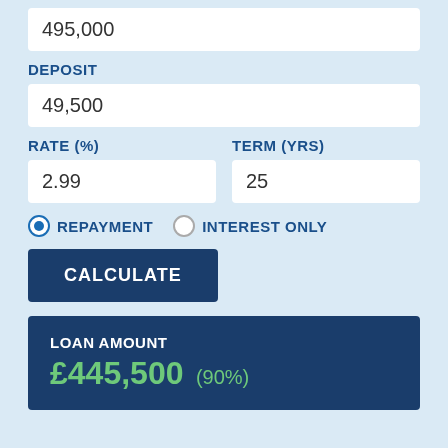495,000
DEPOSIT
49,500
RATE (%)
2.99
TERM (YRS)
25
REPAYMENT
INTEREST ONLY
CALCULATE
LOAN AMOUNT
£445,500 (90%)